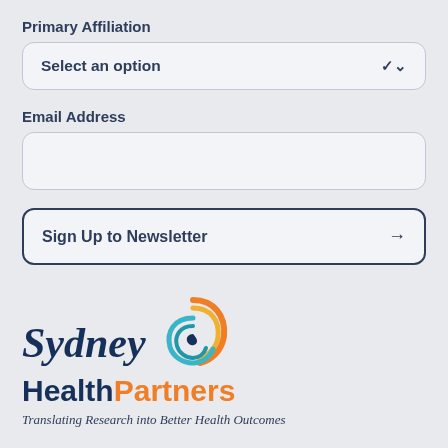Primary Affiliation
[Figure (screenshot): Dropdown selector showing 'Select an option' with a chevron arrow]
Email Address
[Figure (screenshot): Empty text input field for email address]
[Figure (screenshot): Button labeled 'Sign Up to Newsletter' with right arrow]
[Figure (logo): Sydney Health Partners logo with circular swirl graphic in orange, teal, and dark blue, with text 'Sydney HealthPartners' and tagline 'Translating Research into Better Health Outcomes']